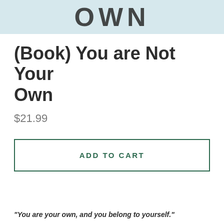[Figure (photo): Partial book cover showing letters OWN on a light blue/grey background]
(Book) You are Not Your Own
$21.99
ADD TO CART
"You are your own, and you belong to yourself."